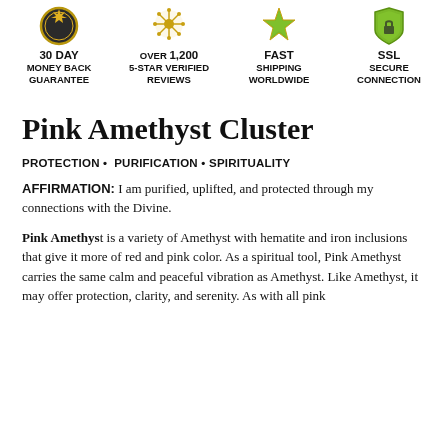[Figure (infographic): Four trust badges in a row: a gold/dark badge for '30 DAY MONEY BACK GUARANTEE', a gold star badge for 'OVER 1,200 5-STAR VERIFIED REVIEWS', a green/gold badge for 'FAST SHIPPING WORLDWIDE', and a green badge for 'SSL SECURE CONNECTION'.]
Pink Amethyst Cluster
PROTECTION • PURIFICATION • SPIRITUALITY
AFFIRMATION: I am purified, uplifted, and protected through my connections with the Divine.
Pink Amethyst is a variety of Amethyst with hematite and iron inclusions that give it more of red and pink color. As a spiritual tool, Pink Amethyst carries the same calm and peaceful vibration as Amethyst. Like Amethyst, it may offer protection, clarity, and serenity. As with all pink